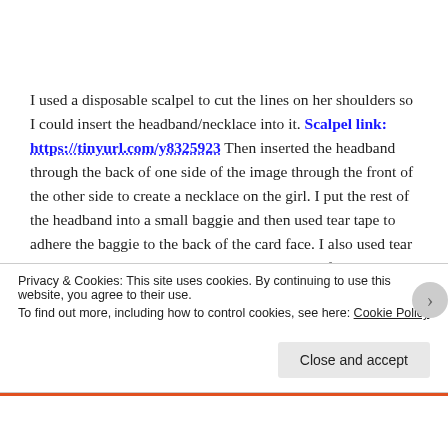I used a disposable scalpel to cut the lines on her shoulders so I could insert the headband/necklace into it. Scalpel link: https://tinyurl.com/y8325923 Then inserted the headband through the back of one side of the image through the front of the other side to create a necklace on the girl. I put the rest of the headband into a small baggie and then used tear tape to adhere the baggie to the back of the card face. I also used tear tape to adhere the baggie that held the extender for the headband, then
Privacy & Cookies: This site uses cookies. By continuing to use this website, you agree to their use. To find out more, including how to control cookies, see here: Cookie Policy
Close and accept